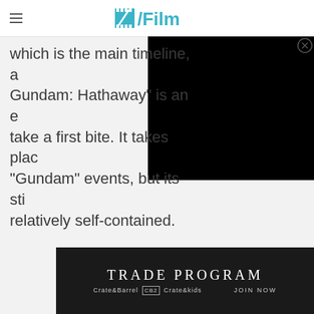/Film
which is the main timeline, a Gundam: Hathaway" is an e take a first bite. It takes plac "Gundam" events, but its sti relatively self-contained.
[Figure (screenshot): Black video player overlay in upper right corner with close button (X in circle)]
[Figure (screenshot): Crate&Barrel Trade Program advertisement banner at bottom of page]